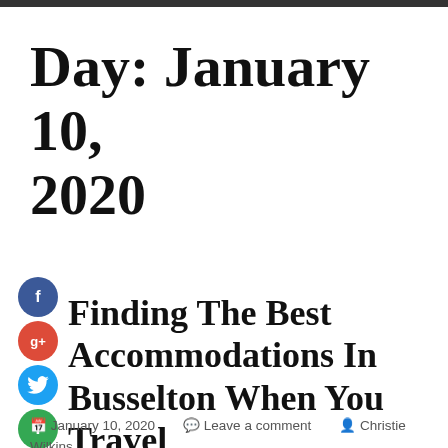Day: January 10, 2020
[Figure (infographic): Social media sharing icons: Facebook (blue circle with f), Google+ (red circle with g+), Twitter (blue circle with bird), and a green plus circle]
Finding The Best Accommodations In Busselton When You Travel
January 10, 2020   Leave a comment   Christie Wilkins